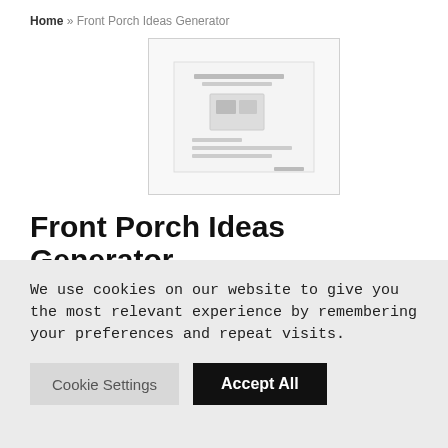Home » Front Porch Ideas Generator
[Figure (screenshot): Thumbnail preview image of a document or webpage, shown with a light gray border and white background]
Front Porch Ideas Generator
admin · October 27, 2021 · Cooking, Food & Wine
♡ Save  0
We use cookies on our website to give you the most relevant experience by remembering your preferences and repeat visits.
Cookie Settings   Accept All